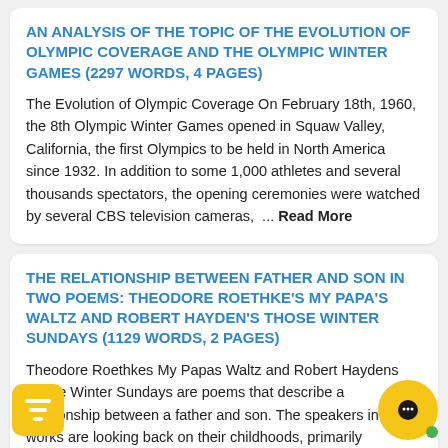AN ANALYSIS OF THE TOPIC OF THE EVOLUTION OF OLYMPIC COVERAGE AND THE OLYMPIC WINTER GAMES (2297 WORDS, 4 PAGES)
The Evolution of Olympic Coverage On February 18th, 1960, the 8th Olympic Winter Games opened in Squaw Valley, California, the first Olympics to be held in North America since 1932. In addition to some 1,000 athletes and several thousands spectators, the opening ceremonies were watched by several CBS television cameras, ... Read More
THE RELATIONSHIP BETWEEN FATHER AND SON IN TWO POEMS: THEODORE ROETHKE'S MY PAPA'S WALTZ AND ROBERT HAYDEN'S THOSE WINTER SUNDAYS (1129 WORDS, 2 PAGES)
Theodore Roethkes My Papas Waltz and Robert Haydens Those Winter Sundays are poems that describe a relationship between a father and son. The speakers in both works are looking back on their childhoods, primarily